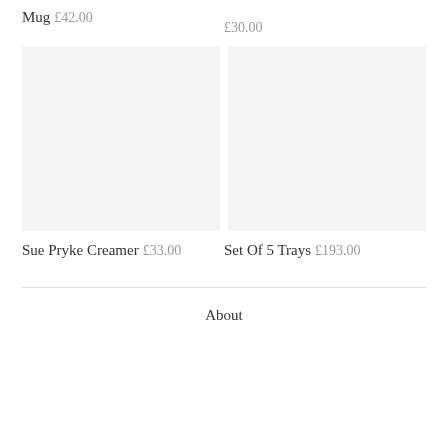Mug
£42.00
£30.00
Sue Pryke Creamer
£33.00
Set Of 5 Trays
£193.00
About